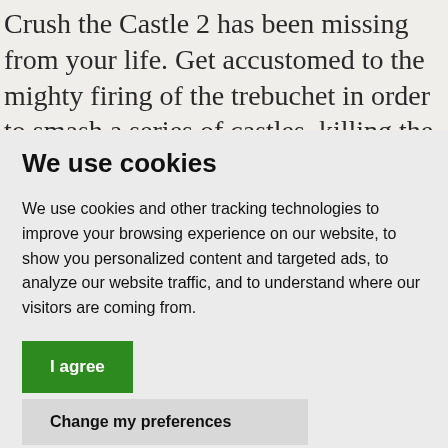Crush the Castle 2 has been missing from your life. Get accustomed to the mighty firing of the trebuchet in order to smash a series of castles, killing the royalty inside and
We use cookies
We use cookies and other tracking technologies to improve your browsing experience on our website, to show you personalized content and targeted ads, to analyze our website traffic, and to understand where our visitors are coming from.
I agree
Change my preferences